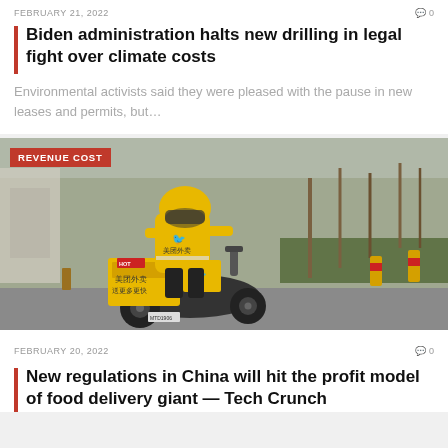FEBRUARY 21, 2022   0
Biden administration halts new drilling in legal fight over climate costs
Environmental activists said they were pleased with the pause in new leases and permits, but...
[Figure (photo): A Meituan food delivery rider on a yellow scooter with yellow delivery boxes, wearing yellow jacket and helmet, on a city street. A red badge reading 'REVENUE COST' overlays the top-left corner.]
FEBRUARY 20, 2022   0
New regulations in China will hit the profit model of food delivery giant — Tech Crunch